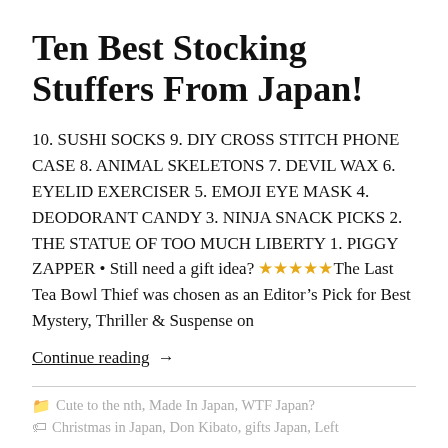Ten Best Stocking Stuffers From Japan!
10. SUSHI SOCKS 9. DIY CROSS STITCH PHONE CASE 8. ANIMAL SKELETONS 7. DEVIL WAX 6. EYELID EXERCISER 5. EMOJI EYE MASK 4. DEODORANT CANDY 3. NINJA SNACK PICKS 2. THE STATUE OF TOO MUCH LIBERTY 1. PIGGY ZAPPER • Still need a gift idea? ★★★★★The Last Tea Bowl Thief was chosen as an Editor's Pick for Best Mystery, Thriller & Suspense on
Continue reading →
Cute to the nth, Made In Japan, WTF Japan?
Christmas in Japan, Don Kibato, gifts Japan, Left